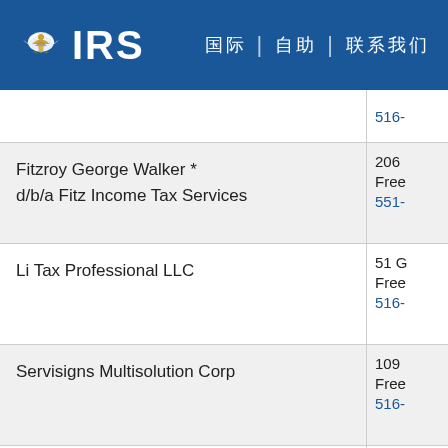IRS
| Name | Address/Phone |
| --- | --- |
|  | 516- |
| Fitzroy George Walker *
d/b/a Fitz Income Tax Services | 206
Free
551- |
| Li Tax Professional LLC | 51 G
Free
516- |
| Servisigns Multisolution Corp | 109
Free
516- |
| Hyton Accounting & Consulting LLC | 69-2
Suit
Fres
718- |